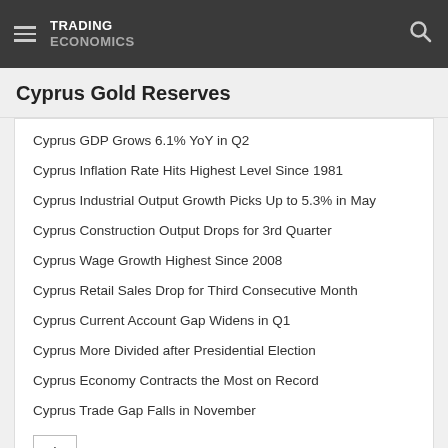TRADING ECONOMICS
Cyprus Gold Reserves
Cyprus GDP Grows 6.1% YoY in Q2
Cyprus Inflation Rate Hits Highest Level Since 1981
Cyprus Industrial Output Growth Picks Up to 5.3% in May
Cyprus Construction Output Drops for 3rd Quarter
Cyprus Wage Growth Highest Since 2008
Cyprus Retail Sales Drop for Third Consecutive Month
Cyprus Current Account Gap Widens in Q1
Cyprus More Divided after Presidential Election
Cyprus Economy Contracts the Most on Record
Cyprus Trade Gap Falls in November